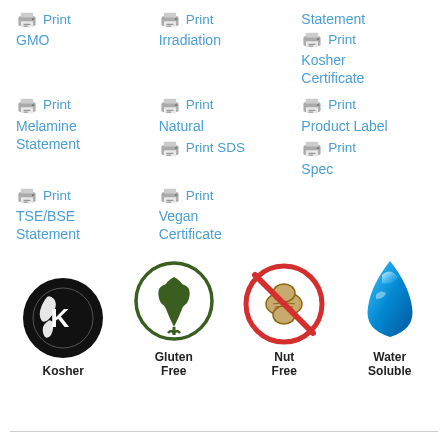[Figure (infographic): Grid of printer icons with labels: Print GMO, Print Irradiation, Statement / Print Kosher Certificate, Print Melamine Statement, Print Natural / Print SDS, Print Product Label / Print Spec, Print TSE/BSE Statement, Print Vegan Certificate]
[Figure (infographic): Four certification icons at bottom: Kosher (black globe with K), Gluten Free (dark green leaf/wheat), Nut Free (red circle with slash over peanut), Water Soluble (blue water drop)]